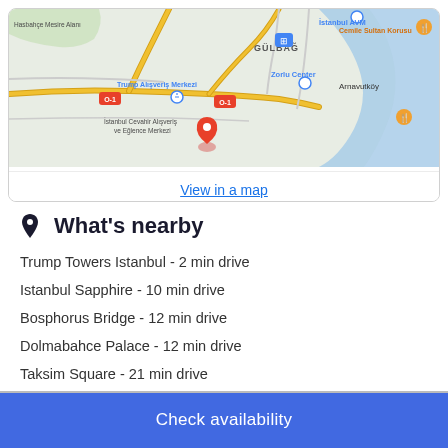[Figure (map): Google Maps view showing Istanbul area with landmarks including Trump Alışveriş Merkezi, İstanbul Cevahir Alışveriş ve Eğlence Merkezi, Zorlu Center, Hasbahçe Mesire Alanı, İstanbul AVM, Cemile Sultan Korusu, Arnavutköy, GÜLBAĞ neighborhood, with a hotel pin marker and yellow highway routes visible.]
View in a map
What's nearby
Trump Towers Istanbul - 2 min drive
Istanbul Sapphire - 10 min drive
Bosphorus Bridge - 12 min drive
Dolmabahce Palace - 12 min drive
Taksim Square - 21 min drive
Check availability